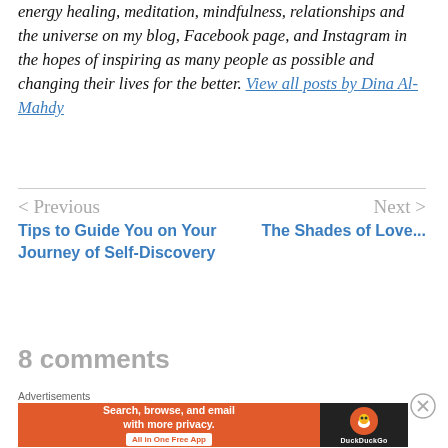energy healing, meditation, mindfulness, relationships and the universe on my blog, Facebook page, and Instagram in the hopes of inspiring as many people as possible and changing their lives for the better. View all posts by Dina Al-Mahdy
< Previous
Tips to Guide You on Your Journey of Self-Discovery
Next >
The Shades of Love...
8 comments
Advertisements
[Figure (screenshot): DuckDuckGo advertisement banner: orange background with text 'Search, browse, and email with more privacy. All in One Free App' and DuckDuckGo logo on dark background]